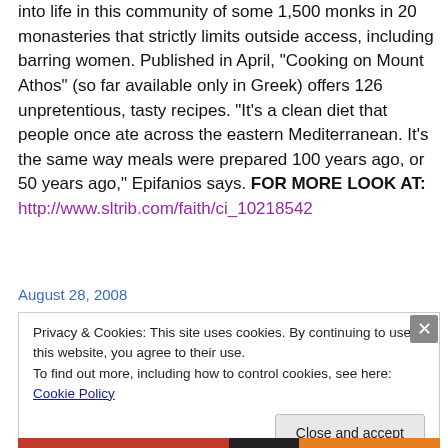into life in this community of some 1,500 monks in 20 monasteries that strictly limits outside access, including barring women. Published in April, "Cooking on Mount Athos" (so far available only in Greek) offers 126 unpretentious, tasty recipes. "It's a clean diet that people once ate across the eastern Mediterranean. It's the same way meals were prepared 100 years ago, or 50 years ago," Epifanios says. FOR MORE LOOK AT: http://www.sltrib.com/faith/ci_10218542
August 28, 2008
Privacy & Cookies: This site uses cookies. By continuing to use this website, you agree to their use. To find out more, including how to control cookies, see here: Cookie Policy
Close and accept